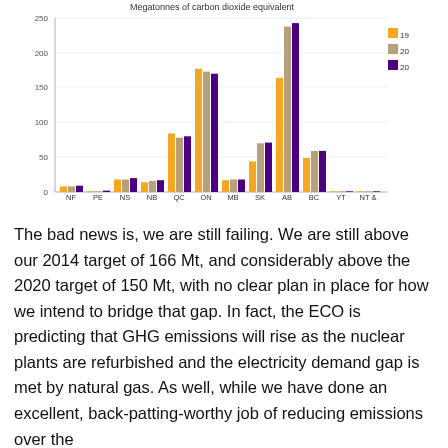[Figure (grouped-bar-chart): Megatonnes of carbon dioxide equivalent]
The bad news is, we are still failing. We are still above our 2014 target of 166 Mt, and considerably above the 2020 target of 150 Mt, with no clear plan in place for how we intend to bridge that gap. In fact, the ECO is predicting that GHG emissions will rise as the nuclear plants are refurbished and the electricity demand gap is met by natural gas. As well, while we have done an excellent, back-patting-worthy job of reducing emissions over the